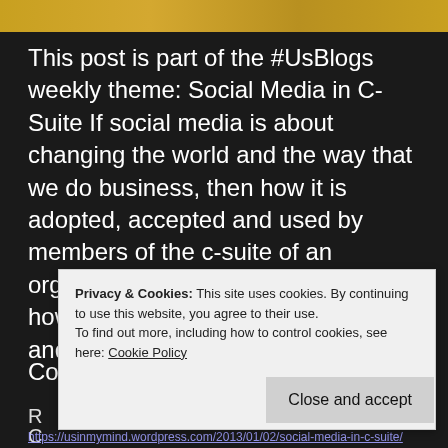[Figure (photo): Golden/amber colored banner image at top of page]
This post is part of the #UsBlogs weekly theme: Social Media in C-Suite If social media is about changing the world and the way that we do business, then how it is adopted, accepted and used by members of the c-suite of an organization is truly a reflection of how they themselves see change and……
Continue reading
Privacy & Cookies: This site uses cookies. By continuing to use this website, you agree to their use.
To find out more, including how to control cookies, see here: Cookie Policy
Close and accept